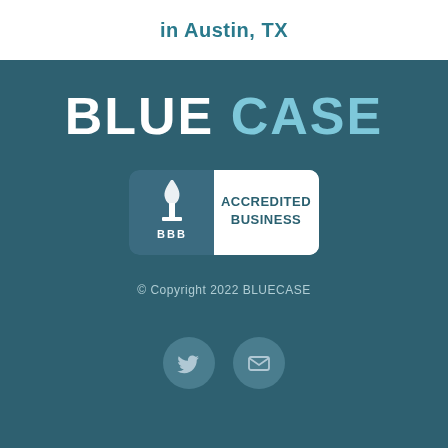in Austin, TX
[Figure (logo): BLUECASE logo with white BLUE and light blue CASE text]
[Figure (logo): BBB Accredited Business badge with torch icon on dark background and white text panel]
© Copyright  2022 BLUECASE
[Figure (other): Two social media icon circles: Twitter bird icon and email envelope icon]